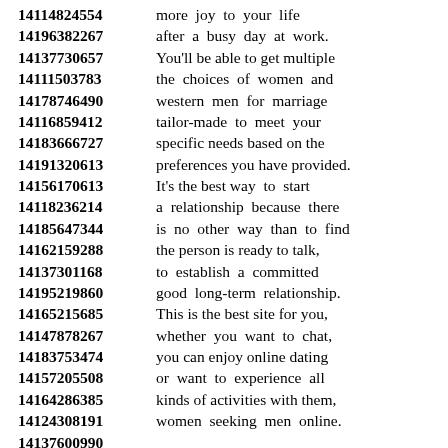14114824554 more joy to your life
14196382267 after a busy day at work.
14137730657 You'll be able to get multiple
14111503783 the choices of women and
14178746490 western men for marriage
14116859412 tailor-made to meet your
14183666727 specific needs based on the
14191320613 preferences you have provided.
14156170613 It's the best way to start
14118236214 a relationship because there
14185647344 is no other way than to find
14162159288 the person is ready to talk,
14137301168 to establish a committed
14195219860 good long-term relationship.
14165215685 This is the best site for you,
14147878267 whether you want to chat,
14183753474 you can enjoy online dating
14157205508 or want to experience all
14164286385 kinds of activities with them,
14124308191 women seeking men online.
14137600990
14198333542 It's simple and easy way
14181966998 for some members to
14157645625 know what they want from
14169566955 women looking for marriage